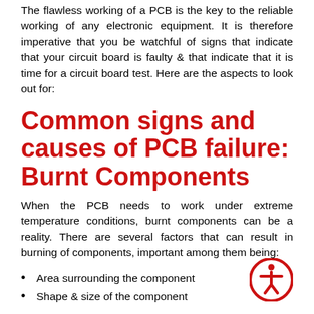The flawless working of a PCB is the key to the reliable working of any electronic equipment. It is therefore imperative that you be watchful of signs that indicate that your circuit board is faulty & that indicate that it is time for a circuit board test. Here are the aspects to look out for:
Common signs and causes of PCB failure: Burnt Components
When the PCB needs to work under extreme temperature conditions, burnt components can be a reality. There are several factors that can result in burning of components, important among them being:
Area surrounding the component
Shape & size of the component